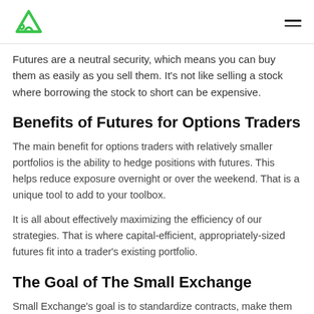[Logo: Small Exchange] [Hamburger menu icon]
Futures are a neutral security, which means you can buy them as easily as you sell them. It's not like selling a stock where borrowing the stock to short can be expensive.
Benefits of Futures for Options Traders
The main benefit for options traders with relatively smaller portfolios is the ability to hedge positions with futures. This helps reduce exposure overnight or over the weekend. That is a unique tool to add to your toolbox.
It is all about effectively maximizing the efficiency of our strategies. That is where capital-efficient, appropriately-sized futures fit into a trader's existing portfolio.
The Goal of The Small Exchange
Small Exchange's goal is to standardize contracts, make them